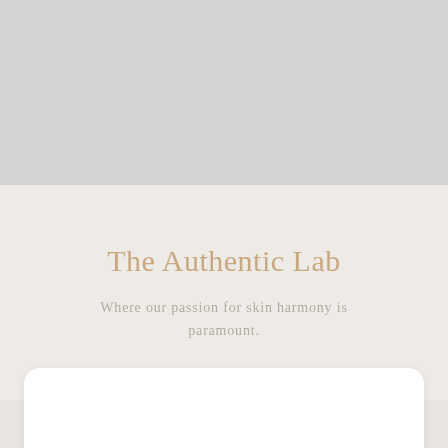The Authentic Lab
Where our passion for skin harmony is paramount.